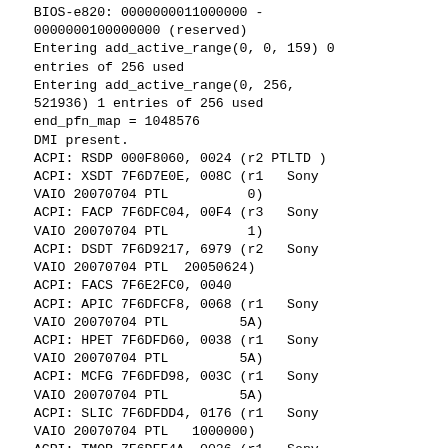BIOS-e820: 0000000011000000 - 0000000100000000 (reserved)
Entering add_active_range(0, 0, 159) 0 entries of 256 used
Entering add_active_range(0, 256, 521936) 1 entries of 256 used
end_pfn_map = 1048576
DMI present.
ACPI: RSDP 000F8060, 0024 (r2 PTLTD )
ACPI: XSDT 7F6D7E0E, 008C (r1   Sony VAIO 20070704 PTL          0)
ACPI: FACP 7F6DFC04, 00F4 (r3   Sony VAIO 20070704 PTL          1)
ACPI: DSDT 7F6D9217, 6979 (r2   Sony VAIO 20070704 PTL  20050624)
ACPI: FACS 7F6E2FC0, 0040
ACPI: APIC 7F6DFCF8, 0068 (r1   Sony VAIO 20070704 PTL         5A)
ACPI: HPET 7F6DFD60, 0038 (r1   Sony VAIO 20070704 PTL         5A)
ACPI: MCFG 7F6DFD98, 003C (r1   Sony VAIO 20070704 PTL         5A)
ACPI: SLIC 7F6DFDD4, 0176 (r1   Sony VAIO 20070704 PTL   1000000)
ACPI: TMOR 7F6DFF4A, 0026 (r1   Sony VAIO 20070704 PTL          3)
ACPI: APIC 7F6DFF70, 0068 (r1   Sony VAIO 20070704 PTL          0)
ACPI: BOOT 7F6DFFD8, 0028 (r1   Sony VAIO 20070704 PTL          1)
ACPI: SSDT 7F6DFFD4, 0140 (r1   S